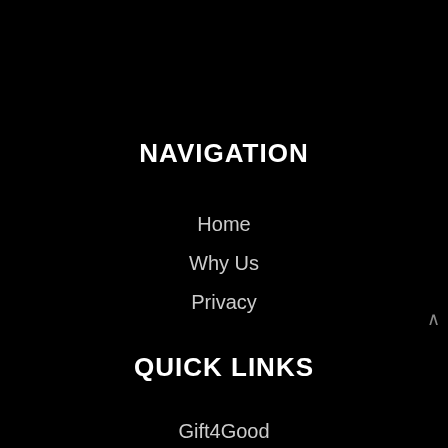NAVIGATION
Home
Why Us
Privacy
QUICK LINKS
Gift4Good